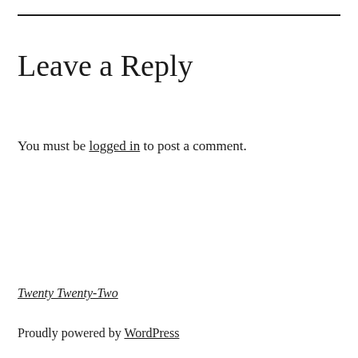Leave a Reply
You must be logged in to post a comment.
Twenty Twenty-Two
Proudly powered by WordPress